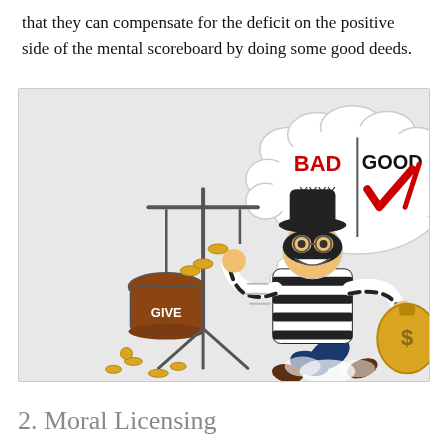that they can compensate for the deficit on the positive side of the mental scoreboard by doing some good deeds.
[Figure (illustration): Cartoon of a thief in black-and-white striped outfit and ski mask, holding a money bag with a dollar sign in one hand, dropping coins into a 'GIVE' pot on a balance scale with the other hand. Above the thief is a thought bubble divided into two sides: left side says 'BAD' in red with 'XXXX' below it (crossed out), right side says 'Good' in black with a large red checkmark.]
2. Moral Licensing